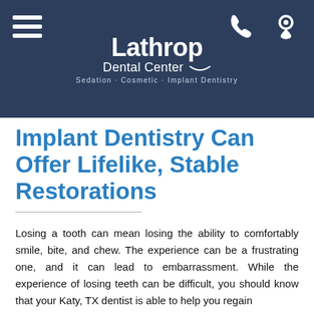[Figure (logo): Lathrop Dental Center logo with hamburger menu, phone icon, and location icon on dark navy header background. Logo text reads 'Lathrop Dental Center' with tagline 'Sedation · Cosmetic · Implant Dentistry']
Implant Dentistry Can Offer Lifelike, Stable Restorations
Losing a tooth can mean losing the ability to comfortably smile, bite, and chew. The experience can be a frustrating one, and it can lead to embarrassment. While the experience of losing teeth can be difficult, you should know that your Katy, TX dentist is able to help you regain